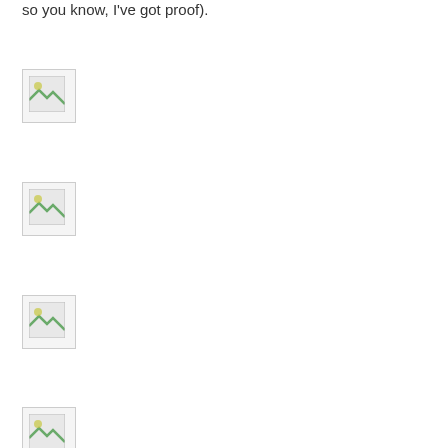so you know, I've got proof).
[Figure (photo): Broken/missing image placeholder 1]
[Figure (photo): Broken/missing image placeholder 2]
[Figure (photo): Broken/missing image placeholder 3]
[Figure (photo): Broken/missing image placeholder 4]
Jacey at 6:00 AM   3 comments:
Sunday, January 25, 2009
Sunday Stash #8
[Figure (photo): Broken/missing image placeholder 5]
Fat quarters, purchased from Joann's